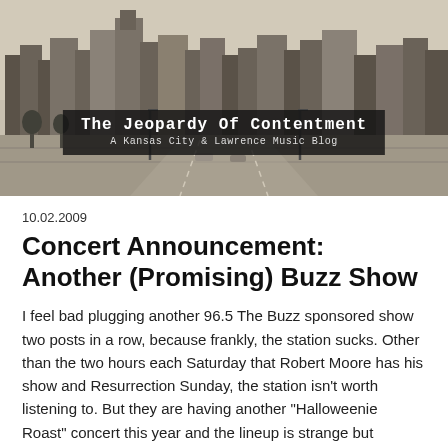[Figure (photo): Black and white cityscape photo of Kansas City skyline with highway in foreground, overlaid with blog title 'The Jeopardy Of Contentment - A Kansas City & Lawrence Music Blog']
10.02.2009
Concert Announcement: Another (Promising) Buzz Show
I feel bad plugging another 96.5 The Buzz sponsored show two posts in a row, because frankly, the station sucks. Other than the two hours each Saturday that Robert Moore has his show and Resurrection Sunday, the station isn't worth listening to. But they are having another "Halloweenie Roast" concert this year and the lineup is strange but